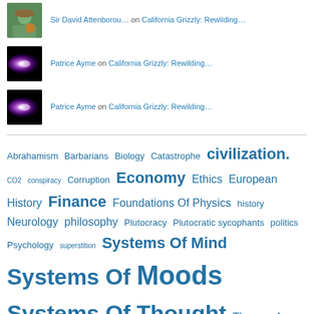Sir David Attenborou… on California Grizzly: Rewilding…
Patrice Ayme on California Grizzly: Rewilding…
Patrice Ayme on California Grizzly: Rewilding…
Abrahamism Barbarians Biology Catastrophe civilization. CO2 conspiracy Corruption Economy Ethics European History Finance Foundations Of Physics history Neurology philosophy Plutocracy Plutocratic sycophants politics Psychology superstition Systems Of Mind Systems Of Moods Systems Of Thought Theory of